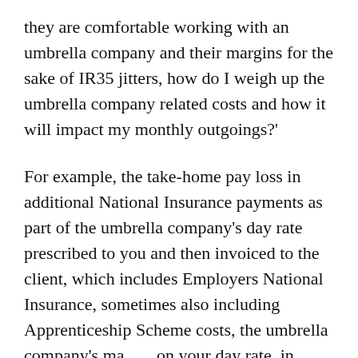they are comfortable working with an umbrella company and their margins for the sake of IR35 jitters, how do I weigh up the umbrella company related costs and how it will impact my monthly outgoings?'
For example, the take-home pay loss in additional National Insurance payments as part of the umbrella company's day rate prescribed to you and then invoiced to the client, which includes Employers National Insurance, sometimes also including Apprenticeship Scheme costs, the umbrella company's margin on your day rate, in addition to any umbrella